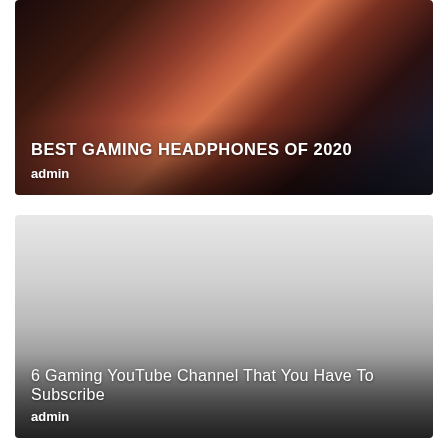[Figure (photo): Dark-toned photo of a person at a laptop, with orange/red color accents, showing a gaming setup scene]
BEST GAMING HEADPHONES OF 2020
admin
[Figure (photo): Light grey to dark gradient image, mostly grey tones, representing a gaming YouTube channel article thumbnail]
6 Gaming YouTube Channel That You Have To Subscribe
admin
[Figure (photo): Partially visible grey-toned card at the bottom of the page]